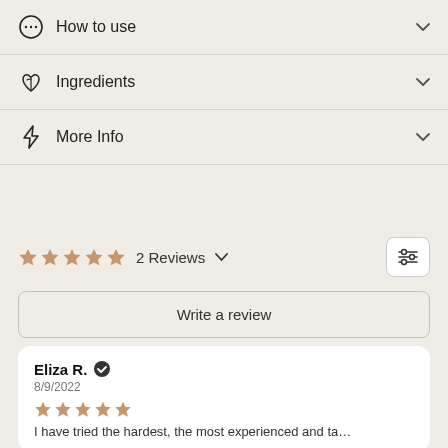How to use
Ingredients
More Info
2 Reviews
Write a review
Eliza R. ✓
8/9/2022